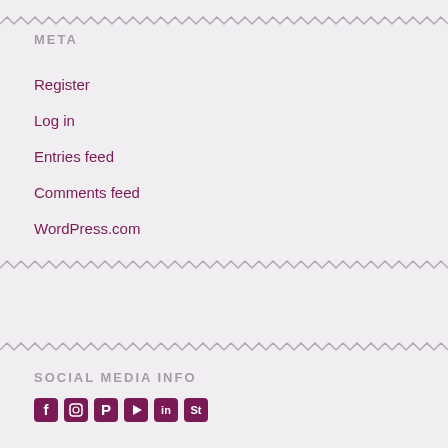META
Register
Log in
Entries feed
Comments feed
WordPress.com
SOCIAL MEDIA INFO
[Figure (illustration): Social media icons for Facebook, Instagram, Pinterest, YouTube, and other platforms]